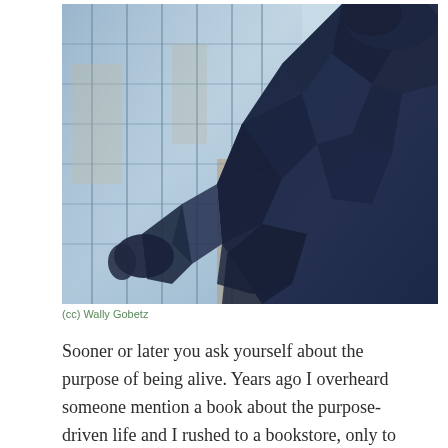[Figure (photo): A large blue bear sculpture peering into a glass building with reflections of a city skyline visible in the windows. The bear is a geometric, faceted dark blue sculpture leaning against the glass facade.]
(cc) Wally Gobetz
Sooner or later you ask yourself about the purpose of being alive. Years ago I overheard someone mention a book about the purpose-driven life and I rushed to a bookstore, only to find that it was mostly about God. But I realized that I was more concerned about purpose than I